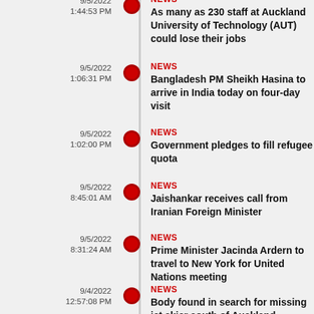9/5/2022 1:44:53 PM | NEWS | As many as 230 staff at Auckland University of Technology (AUT) could lose their jobs
9/5/2022 1:06:31 PM | NEWS | Bangladesh PM Sheikh Hasina to arrive in India today on four-day visit
9/5/2022 1:02:00 PM | NEWS | Government pledges to fill refugee quota
9/5/2022 8:45:01 AM | NEWS | Jaishankar receives call from Iranian Foreign Minister
9/5/2022 8:31:24 AM | NEWS | Prime Minister Jacinda Ardern to travel to New York for United Nations meeting
9/4/2022 12:57:08 PM | NEWS | Body found in search for missing jet skier south of Auckland
9/4/2022 | NEWS